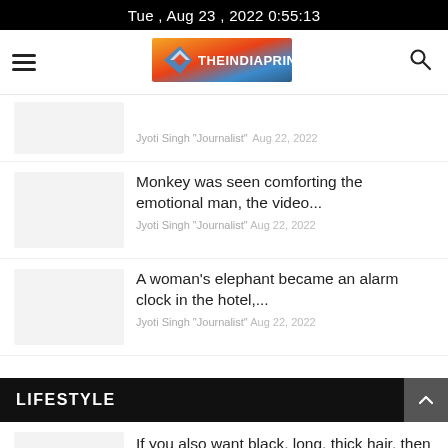Tue , Aug 23 , 2022 0:55:13
[Figure (logo): THEINDIAPRINT.COM logo with diamond/arrow shape in orange, red, blue colors]
Jyoti Singh "Journalist"  Aug 22, 2022
Monkey was seen comforting the emotional man, the video...
Jyoti Singh "Journalist"  Aug 22, 2022
A woman's elephant became an alarm clock in the hotel,...
Jyoti Singh "Journalist"  Aug 22, 2022
LIFESTYLE
If you also want black, long, thick hair, then use